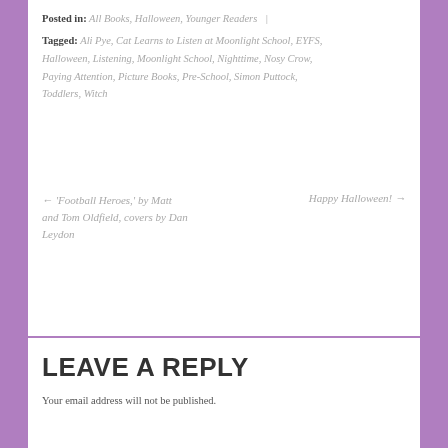Posted in: All Books, Halloween, Younger Readers  |
Tagged: Ali Pye, Cat Learns to Listen at Moonlight School, EYFS, Halloween, Listening, Moonlight School, Nighttime, Nosy Crow, Paying Attention, Picture Books, Pre-School, Simon Puttock, Toddlers, Witch
← 'Football Heroes,' by Matt and Tom Oldfield, covers by Dan Leydon
Happy Halloween! →
LEAVE A REPLY
Your email address will not be published.